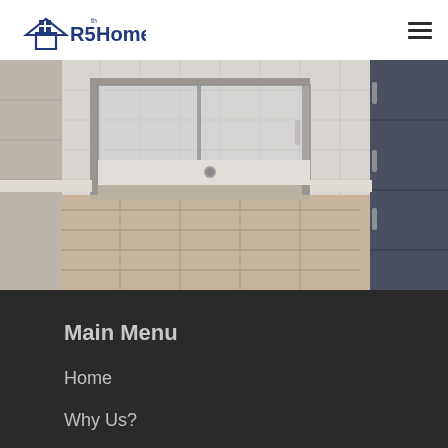R5 Homes
[Figure (photo): Bathroom interior with glass shower enclosure, white tile walls and floor, and dark gray cabinetry visible on the right side]
Main Menu
Home
Why Us?